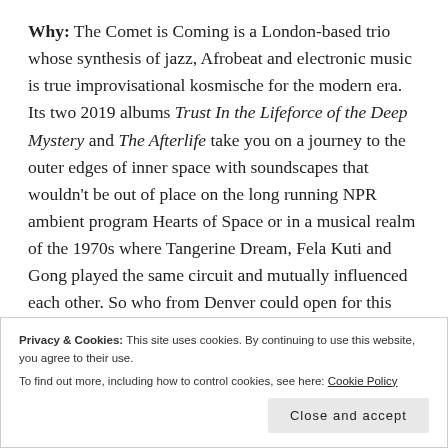Why: The Comet is Coming is a London-based trio whose synthesis of jazz, Afrobeat and electronic music is true improvisational kosmische for the modern era. Its two 2019 albums Trust In the Lifeforce of the Deep Mystery and The Afterlife take you on a journey to the outer edges of inner space with soundscapes that wouldn't be out of place on the long running NPR ambient program Hearts of Space or in a musical realm of the 1970s where Tangerine Dream, Fela Kuti and Gong played the same circuit and mutually influenced each other. So who from Denver could open for this outfit? Only one name really comes to mind and that's is—
Privacy & Cookies: This site uses cookies. By continuing to use this website, you agree to their use. To find out more, including how to control cookies, see here: Cookie Policy